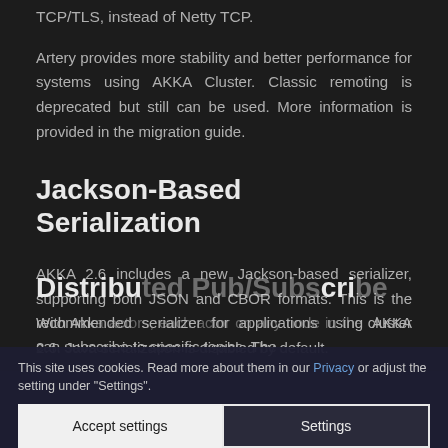TCP/TLS, instead of Netty TCP.
Artery provides more stability and better performance for systems using AKKA Cluster. Classic remoting is deprecated but still can be used. More information is provided in the migration guide.
Jackson-Based Serialization
AKKA 2.6 includes a new Jackson-based serializer, supporting both JSON and CBOR formats. This is the recommended serializer for applications using AKKA 2.6. Java serialization is disabled by default.
This site uses cookies. Read more about them in our Privacy or adjust the setting under "Settings".
Distribu... ...ribe
With Akk... on any node in the cluster can subscribe to specific topics. The...